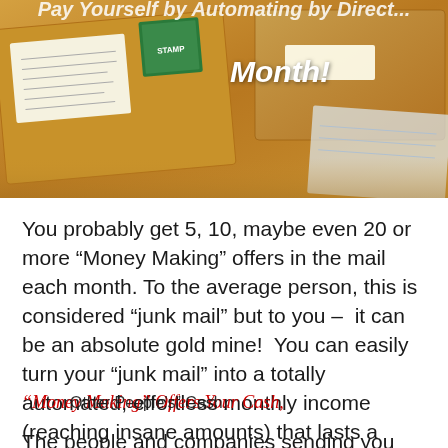[Figure (photo): Photo of manila/brown envelopes and mailers on a surface, partially overlapping, with text overlay reading 'Month!' in bold italic white text at top center]
You probably get 5, 10, maybe even 20 or more “Money Making” offers in the mail each month. To the average person, this is considered “junk mail” but to you –  it can be an absolute gold mine!  You can easily turn your “junk mail” into a totally automated, effortless monthly income (reaching insane amounts) that lasts a lifetime!
“Money Making” Offers Your Cash, – “Other People’s” Cash,
The people and companies sending you these